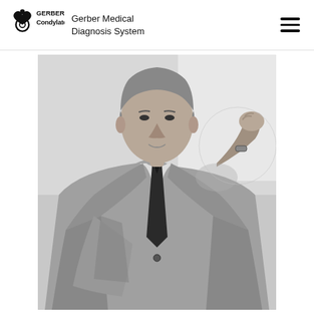Gerber Condylator® | Gerber Medical Diagnosis System
[Figure (photo): Black and white photograph of an older gentleman in a suit and dark tie, seated, with one hand raised near his chin in a thoughtful pose.]